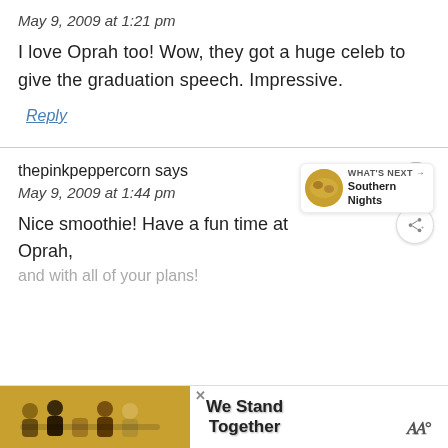May 9, 2009 at 1:21 pm
I love Oprah too! Wow, they got a huge celeb to give the graduation speech. Impressive.
Reply
thepinkpeppercorn says
May 9, 2009 at 1:44 pm
Nice smoothie! Have a fun time at Oprah,
and with all of your plans!
We Stand Together